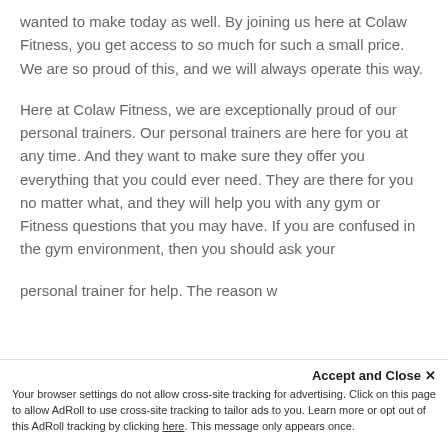wanted to make today as well. By joining us here at Colaw Fitness, you get access to so much for such a small price. We are so proud of this, and we will always operate this way.
Here at Colaw Fitness, we are exceptionally proud of our personal trainers. Our personal trainers are here for you at any time. And they want to make sure they offer you everything that you could ever need. They are there for you no matter what, and they will help you with any gym or Fitness questions that you may have. If you are confused in the gym environment, then you should ask your
personal trainer for help. The reason w...
Accept and Close ✕
Your browser settings do not allow cross-site tracking for advertising. Click on this page to allow AdRoll to use cross-site tracking to tailor ads to you. Learn more or opt out of this AdRoll tracking by clicking here. This message only appears once.